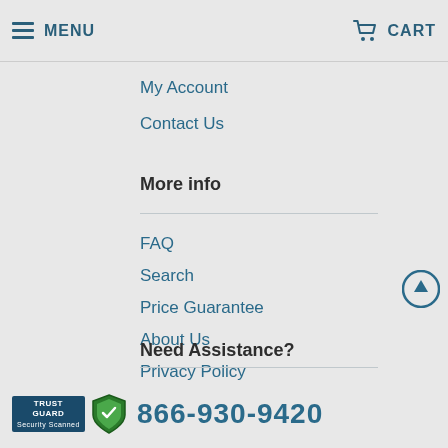MENU  CART
My Account
Contact Us
More info
FAQ
Search
Price Guarantee
About Us
Privacy Policy
Terms of Service
Need Assistance?
866-930-9420